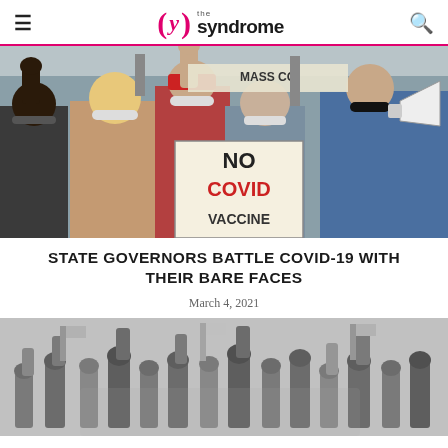the syndrome
[Figure (photo): Crowd of protesters wearing masks, one holding a sign reading 'NO COVID VACCINE', raising fists]
STATE GOVERNORS BATTLE COVID-19 WITH THEIR BARE FACES
March 4, 2021
[Figure (photo): Black and white photo of crowd raising fists in protest]